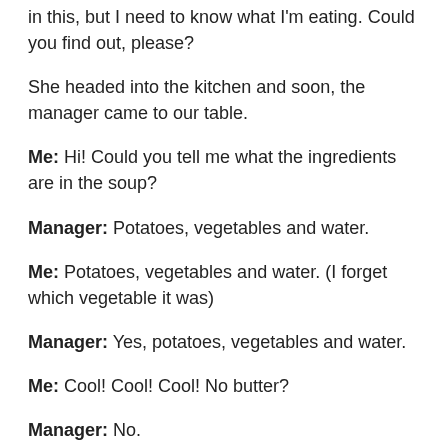in this, but I need to know what I'm eating. Could you find out, please?
She headed into the kitchen and soon, the manager came to our table.
Me: Hi! Could you tell me what the ingredients are in the soup?
Manager: Potatoes, vegetables and water.
Me: Potatoes, vegetables and water. (I forget which vegetable it was)
Manager: Yes, potatoes, vegetables and water.
Me: Cool! Cool! Cool! No butter?
Manager: No.